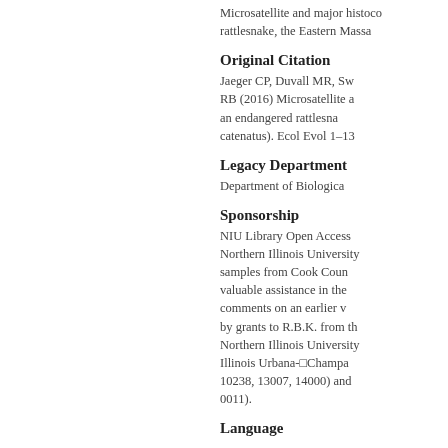Microsatellite and major histocompatibility complex... rattlesnake, the Eastern Massa...
Original Citation
Jaeger CP, Duvall MR, Sw... RB (2016) Microsatellite a... an endangered rattlesna... catenatus). Ecol Evol 1–13
Legacy Department
Department of Biologica...
Sponsorship
NIU Library Open Access... Northern Illinois University... samples from Cook Coun... valuable assistance in the... comments on an earlier v... by grants to R.B.K. from th... Northern Illinois University... Illinois Urbana-ΩChampa... 10238, 13007, 14000) and ... 0011).
Language